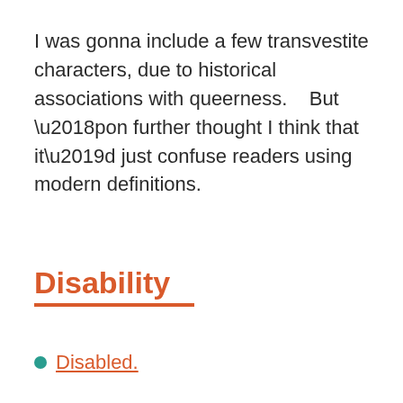I was gonna include a few transvestite characters, due to historical associations with queerness.    But ‘pon further thought I think that it’d just confuse readers using modern definitions.
Disability
Disabled.